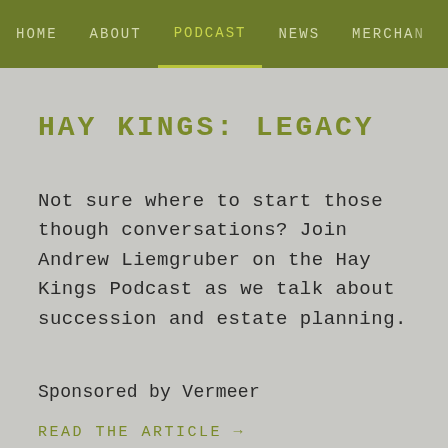HOME   ABOUT   PODCAST   NEWS   MERCHA...
HAY KINGS: LEGACY
Not sure where to start those though conversations? Join Andrew Liemgruber on the Hay Kings Podcast as we talk about succession and estate planning.
Sponsored by Vermeer
READ THE ARTICLE →